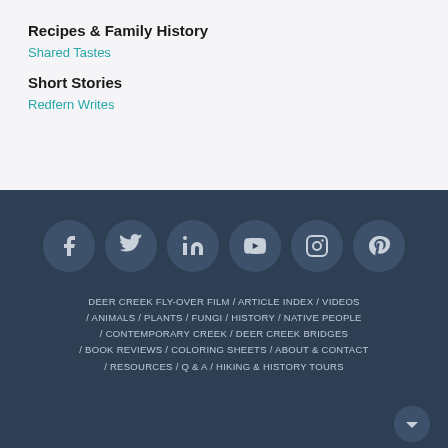Recipes & Family History
Shared Tastes
Short Stories
Redfern Writes
[Figure (other): Six social media icon circles: Facebook, Twitter, LinkedIn, YouTube, Instagram, Pinterest on dark navy background]
DEER CREEK FLY-OVER FILM / ARTICLE INDEX / VIDEOS / ANIMALS / PLANTS / FUNGI / HISTORY / NATIVE PEOPLE / CONTEMPORARY CREEK / DEER CREEK BRIDGES / BOOK REVIEWS / COLORING SHEETS / ABOUT & CONTACT / RESOURCES / Q & A / HIKING & HISTORY TOURS